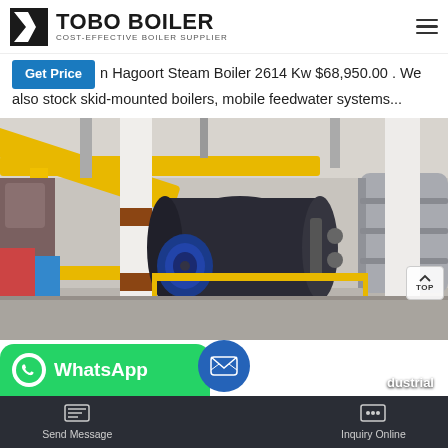TOBO BOILER — COST-EFFECTIVE BOILER SUPPLIER
Get Price | n Hagoort Steam Boiler 2614 Kw $68,950.00 . We also stock skid-mounted boilers, mobile feedwater systems...
[Figure (photo): Industrial boiler room interior showing large horizontal steam boilers with yellow structural beams, blue motor drives, silver insulated tanks, and concrete columns]
WhatsApp
dustrial
Send Message | Inquiry Online